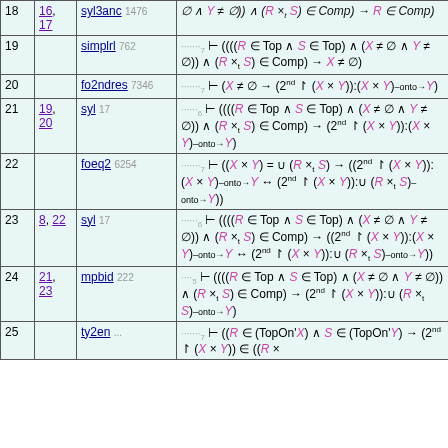| # | Refs | Rule | Formula |
| --- | --- | --- | --- |
| 18 | 16, 17 | syl3anc 1476 | ∅ ∧ Y ≠ ∅)) ∧ (R ×t S) ∈ Comp) → R ∈ Comp) |
| 19 |  | simplrl 762 | .......7 ⊢ ((((R ∈ Top ∧ S ∈ Top) ∧ (X ≠ ∅ ∧ Y ≠ ∅)) ∧ (R ×t S) ∈ Comp) → X ≠ ∅) |
| 20 |  | fo2ndres 7346 | .......7 ⊢ (X ≠ ∅ → (2nd ↾ (X × Y)):(X × Y)–onto→Y) |
| 21 | 19, 20 | syl 17 | ......6 ⊢ ((((R ∈ Top ∧ S ∈ Top) ∧ (X ≠ ∅ ∧ Y ≠ ∅)) ∧ (R ×t S) ∈ Comp) → (2nd ↾ (X × Y)):(X × Y)–onto→Y) |
| 22 |  | foeq2 6254 | .......7 ⊢ ((X × Y) = ∪ (R ×t S) → ((2nd ↾ (X × Y)):(X × Y)–onto→Y ↔ (2nd ↾ (X × Y)):∪ (R ×t S)–onto→Y)) |
| 23 | 8, 22 | syl 17 | ......6 ⊢ ((((R ∈ Top ∧ S ∈ Top) ∧ (X ≠ ∅ ∧ Y ≠ ∅)) ∧ (R ×t S) ∈ Comp) → ((2nd ↾ (X × Y)):(X × Y)–onto→Y ↔ (2nd ↾ (X × Y)):∪ (R ×t S)–onto→Y)) |
| 24 | 21, 23 | mpbid 222 | ....5 ⊢ ((((R ∈ Top ∧ S ∈ Top) ∧ (X ≠ ∅ ∧ Y ≠ ∅)) ∧ (R ×t S) ∈ Comp) → (2nd ↾ (X × Y)):∪ (R ×t S)–onto→Y) |
| 25 |  | ty2en ... | .......7 ⊢ ((R ∈ (TopOn'X) ∧ S ∈ (TopOn'Y)) → (2nd ↾ (X × Y)) ∈ ((R ... |